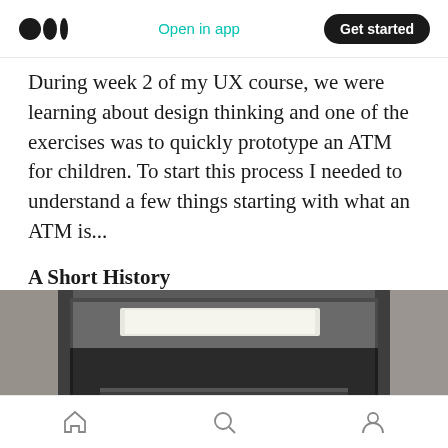Open in app | Get started
During week 2 of my UX course, we were learning about design thinking and one of the exercises was to quickly prototype an ATM for children. To start this process I needed to understand a few things starting with what an ATM is...
A Short History
[Figure (photo): Black and white photograph of a Barclays ATM machine, showing the top portion of the machine with a fluorescent light inside, and partial text reading BARCLAYCA at the bottom]
Home | Search | Profile